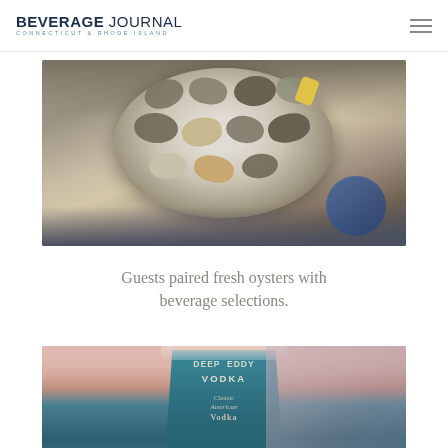BEVERAGE JOURNAL — CONNECTICUT & RHODE ISLAND
[Figure (photo): A plate of fresh oysters on the half shell with a lemon wedge, held by a person at an outdoor event.]
Guests paired fresh oysters with beverage selections.
[Figure (photo): A Deep Eddy Vodka branded cup (Classic American Vodka) with a pink drink, photographed outdoors with a blurred background.]